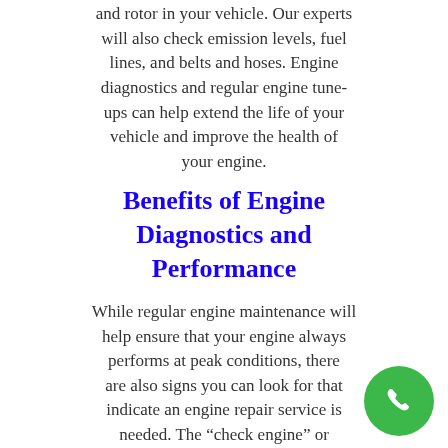and rotor in your vehicle. Our experts will also check emission levels, fuel lines, and belts and hoses. Engine diagnostics and regular engine tune-ups can help extend the life of your vehicle and improve the health of your engine.
Benefits of Engine Diagnostics and Performance
While regular engine maintenance will help ensure that your engine always performs at peak conditions, there are also signs you can look for that indicate an engine repair service is needed. The “check engine” or “service engine” light is a sure sign that your engine should be looked at by an expert sooner than later. of the time, your vehicle’s On-Bo Diagnostics System will detect an